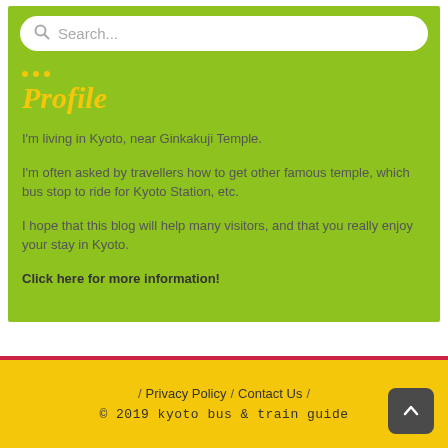[Figure (screenshot): Search bar with magnifying glass icon and placeholder text 'Search...' on a white rounded background within a green box]
Profile
I'm living in Kyoto, near Ginkakuji Temple.
I'm often asked by travellers how to get other famous temple, which bus stop to ride for Kyoto Station, etc.
I hope that this blog will help many visitors, and that you really enjoy your stay in Kyoto.
Click here for more information!
/ Privacy Policy / Contact Us / © 2019 kyoto bus & train guide